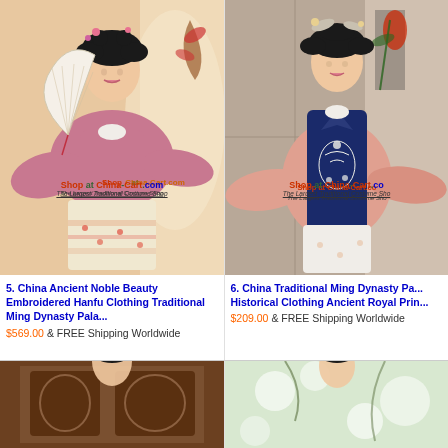[Figure (photo): Young woman wearing pink Ming Dynasty Hanfu with embroidered skirt, holding a decorative fan, standing against warm beige backdrop. Watermark reads 'Shop at China-Cart.com / The Largest Traditional Costume Shop']
[Figure (photo): Young woman wearing Traditional Ming Dynasty blue embroidered vest over pink robe with white skirt, standing in a room with Chinese decor. Watermark reads 'Shop at China-Cart.com / The Largest Traditional Costume Shop']
5. China Ancient Noble Beauty Embroidered Hanfu Clothing Traditional Ming Dynasty Pala... $569.00 & FREE Shipping Worldwide
6. China Traditional Ming Dynasty Pa... Historical Clothing Ancient Royal Prin... $209.00 & FREE Shipping Worldwide
[Figure (photo): Partial view of a woman in traditional Chinese costume with dark wooden carved background, cropped at bottom of page]
[Figure (photo): Partial view of a woman in traditional Chinese costume outdoors with blurry white floral background, cropped at bottom of page]